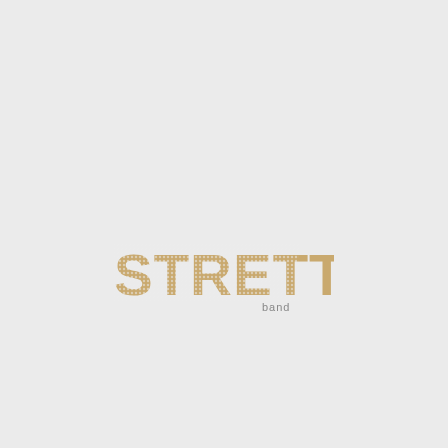[Figure (logo): STRETTA band logo in gold/tan color with dotted/studded letter styling on a light gray background. The word STRETTA appears in large bold uppercase letters with a marquee bulb dot pattern, and the word 'band' appears in small gray text below and to the right.]